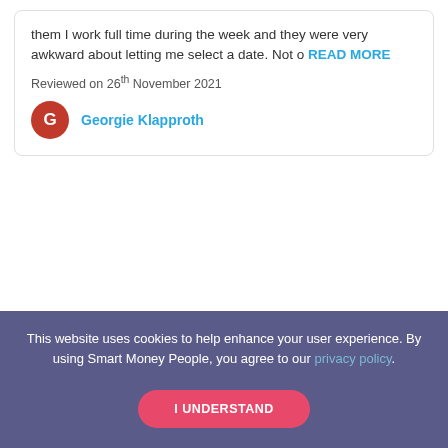them I work full time during the week and they were very awkward about letting me select a date. Not o READ MORE
Reviewed on 26th November 2021
Georgie Klapproth
This website uses cookies to help enhance your user experience. By using Smart Money People, you agree to our privacy policy.
I UNDERSTAND